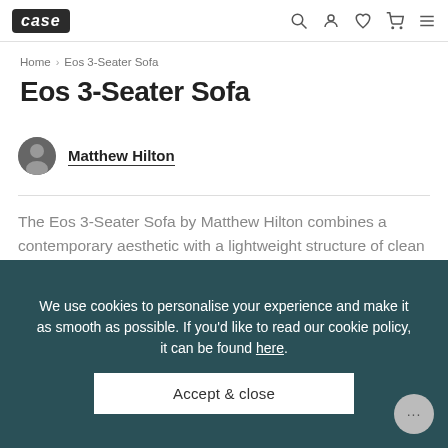case — navigation header with search, account, wishlist, cart, and menu icons
Home > Eos 3-Seater Sofa
Eos 3-Seater Sofa
Matthew Hilton
The Eos 3-Seater Sofa by Matthew Hilton combines a contemporary aesthetic with a lightweight structure of clean lines...
Dimensions    Description
We use cookies to personalise your experience and make it as smooth as possible. If you'd like to read our cookie policy, it can be found here.
Accept & close